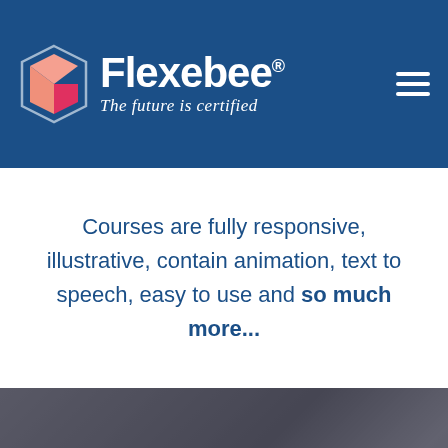[Figure (logo): Flexebee logo with hexagon icon and tagline 'The future is certified' on dark blue header bar]
Courses are fully responsive, illustrative, contain animation, text to speech, easy to use and so much more...
GET A BESPOKE QUOTE FOR YOUR BUSINESS
GET A QUOTE